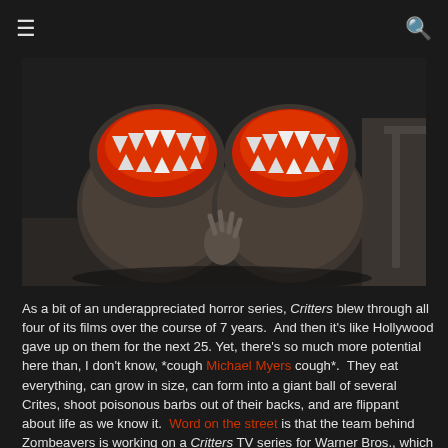☰ [search icon]
[Figure (photo): Two furry alien creatures (Critters/Crites) with wide-open mouths showing red gums and sharp teeth, standing in a dimly lit indoor space. The creatures are small, round, dark grey and brown furry monsters with clawed hands.]
As a bit of an underappreciated horror series, Critters blew through all four of its films over the course of 7 years.  And then it's like Hollywood gave up on them for the next 25. Yet, there's so much more potential here than, I don't know, *cough Michael Myers cough*.  They eat everything, can grow in size, can form into a giant ball of several Crites, shoot poisonous barbs out of their backs, and are flippant about life as we know it.  Word on the street is that the team behind Zombeavers is working on a Critters TV series for Warner Bros., which sounds exciting… but I'll